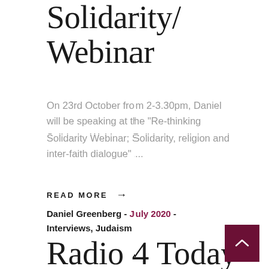Solidarity Webinar
On 23rd October from 2-3.30pm, Daniel will be speaking at the "Re-thinking Solidarity Webinar; Solidarity, religion and inter-faith dialogue" ...
READ MORE →
Daniel Greenberg - July 2020 - Interviews, Judaism
Radio 4 Today Programme's